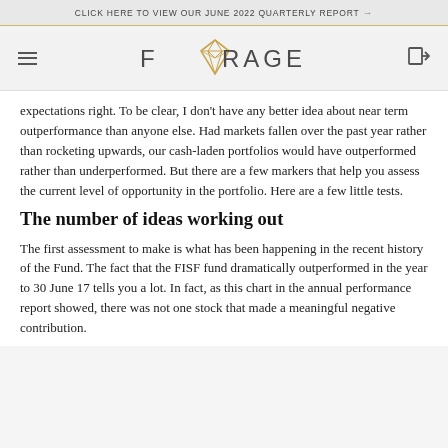CLICK HERE TO VIEW OUR JUNE 2022 QUARTERLY REPORT →
[Figure (logo): Forager Funds Management logo with geometric diamond icon in gold/amber color]
expectations right. To be clear, I don't have any better idea about near term outperformance than anyone else. Had markets fallen over the past year rather than rocketing upwards, our cash-laden portfolios would have outperformed rather than underperformed. But there are a few markers that help you assess the current level of opportunity in the portfolio. Here are a few little tests.
The number of ideas working out
The first assessment to make is what has been happening in the recent history of the Fund. The fact that the FISF fund dramatically outperformed in the year to 30 June 17 tells you a lot. In fact, as this chart in the annual performance report showed, there was not one stock that made a meaningful negative contribution.